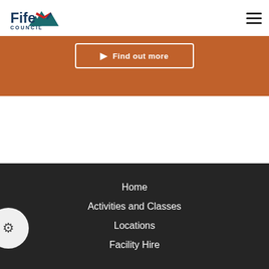Fife Council
[Figure (screenshot): Partially visible orange banner with a 'Find out more' button with a white border]
Home
Activities and Classes
Locations
Facility Hire